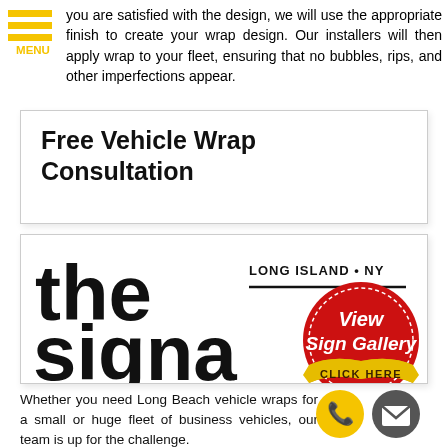you are satisfied with the design, we will use the appropriate finish to create your wrap design. Our installers will then apply wrap to your fleet, ensuring that no bubbles, rips, and other imperfections appear.
Free Vehicle Wrap Consultation
[Figure (logo): The Signa company logo with text 'the signa', LONG ISLAND • NY, and a red seal badge with 'View Sign Gallery CLICK HERE']
Whether you need Long Beach vehicle wraps for a small or huge fleet of business vehicles, our team is up for the challenge.